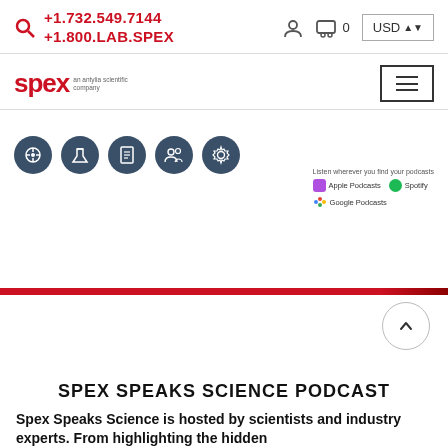+1.732.549.7144 +1.800.LAB.SPEX
[Figure (logo): SPEX logo - an antylia scientific company, with hamburger menu button]
[Figure (infographic): Five dark circular icons representing product/service categories]
[Figure (infographic): Podcast listening options: Apple Podcasts, Spotify, Google Podcasts]
SPEX SPEAKS SCIENCE PODCAST
Spex Speaks Science is hosted by scientists and industry experts. From highlighting the hidden